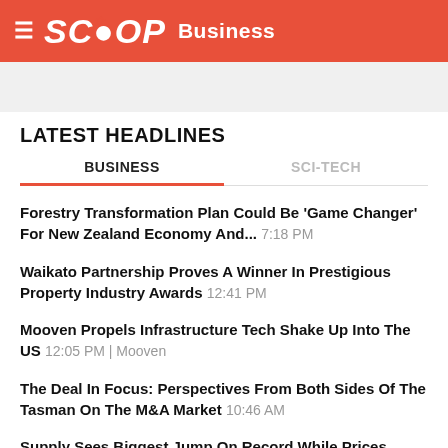SCOOP Business
LATEST HEADLINES
BUSINESS | SCI-TECH
Forestry Transformation Plan Could Be 'Game Changer' For New Zealand Economy And... 7:18 PM
Waikato Partnership Proves A Winner In Prestigious Property Industry Awards 12:41 PM
Mooven Propels Infrastructure Tech Shake Up Into The US 12:05 PM | Mooven
The Deal In Focus: Perspectives From Both Sides Of The Tasman On The M&A Market 10:46 AM
Supply Sees Biggest Jump On Record While Prices Continue To Slump 10:45 AM | Trademe
CCL Launches Managed Microsoft 365 Offering For Today's Modern Workplaces 10:42 AM | CCL
My Wedding Guide Releases NZ's First Wedding App 10:23 AM | My